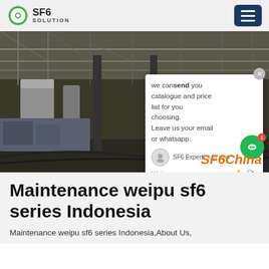SF6 SOLUTION
[Figure (photo): Industrial electrical substation with large equipment, pipes, transformers, and a yellow container truck in background. A live chat popup overlay is visible showing: 'we can send you catalogue and price list for you choosing. Leave us your email or whatsapp.' with SF6 Expert label and 'just now' timestamp. SF6China watermark in orange italic at bottom right.]
Maintenance weipu sf6 series Indonesia
Maintenance weipu sf6 series Indonesia,About Us,